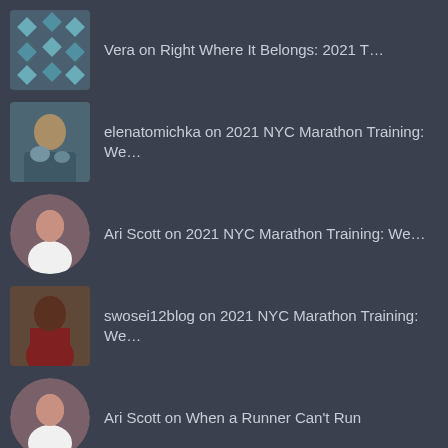Vera on Right Where It Belongs: 2021 T...
elenatomichka on 2021 NYC Marathon Training: We...
Ari Scott on 2021 NYC Marathon Training: We...
swosei12blog on 2021 NYC Marathon Training: We...
Ari Scott on When a Runner Can't Run
TarasFitWorld on When a Runner Can't Run
swosei12blog on 2021 NYC Marathon Training: We...
swosei12blog on 2021 NYC Marathon Training: We...